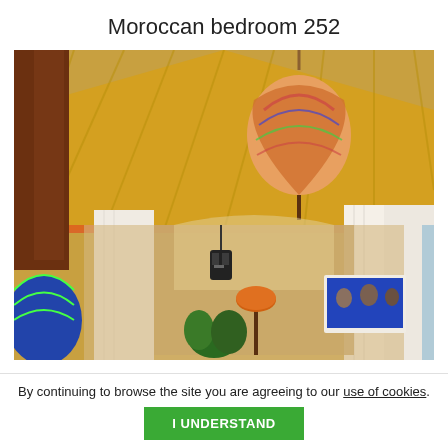Moroccan bedroom 252
[Figure (photo): Interior photo of a Moroccan-style bedroom viewed from above, featuring a golden yellow draped tent ceiling with orange trim, a decorative patterned hanging lamp, white curtains, a small wall-mounted TV, a black lantern pendant light, an orange floor lamp, green plants, and ornate Moroccan architectural details.]
By continuing to browse the site you are agreeing to our use of cookies.
I UNDERSTAND